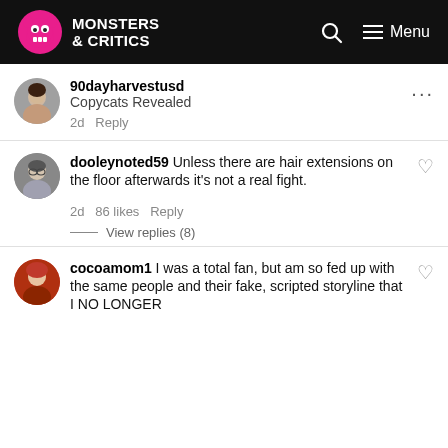Monsters & Critics — Menu
90dayharvestusd
Copycats Revealed
2d Reply
dooleynoted59 Unless there are hair extensions on the floor afterwards it's not a real fight.
2d 86 likes Reply
View replies (8)
cocoamom1 I was a total fan, but am so fed up with the same people and their fake, scripted storyline that I NO LONGER